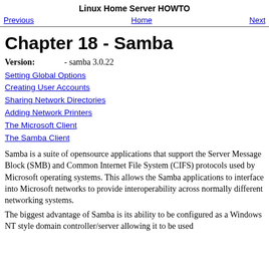Linux Home Server HOWTO
Previous   Home   Next
Chapter 18 - Samba
Version:                    - samba 3.0.22
Setting Global Options
Creating User Accounts
Sharing Network Directories
Adding Network Printers
The Microsoft Client
The Samba Client
Samba is a suite of opensource applications that support the Server Message Block (SMB) and Common Internet File System (CIFS) protocols used by Microsoft operating systems. This allows the Samba applications to interface into Microsoft networks to provide interoperability across normally different networking systems.
The biggest advantage of Samba is its ability to be configured as a Windows NT style domain controller/server allowing it to be used